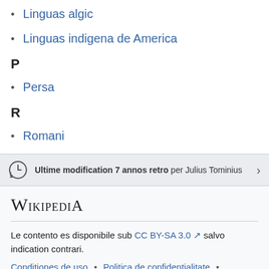Linguas algic
Linguas indigena de America
P
Persa
R
Romani
Ultime modification 7 annos retro per Julius Tominius
Le contento es disponibile sub CC BY-SA 3.0 salvo indication contrari.
Conditiones de uso • Politica de confidentialitate • Scriptorio